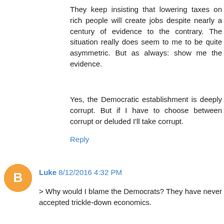They keep insisting that lowering taxes on rich people will create jobs despite nearly a century of evidence to the contrary. The situation really does seem to me to be quite asymmetric. But as always: show me the evidence.
Yes, the Democratic establishment is deeply corrupt. But if I have to choose between corrupt or deluded I'll take corrupt.
Reply
Luke 8/12/2016 4:32 PM
> Why would I blame the Democrats? They have never accepted trickle-down economics.
Because the original topic is not "trickle-down economics", but that which has led to the current situation where both Democratic and Republican establishments are deeply distrusted by the voting public.
> The populace, sure, at least the ones who voted Republican. Ultimately, this mess is their fault.